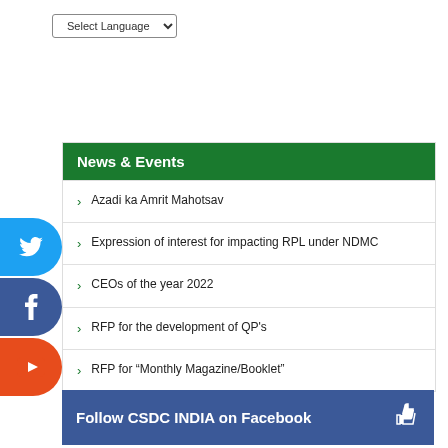Select Language
News & Events
Azadi ka Amrit Mahotsav
Expression of interest for impacting RPL under NDMC
CEOs of the year 2022
RFP for the development of QP's
RFP for “Monthly Magazine/Booklet”
Follow CSDC INDIA on Facebook